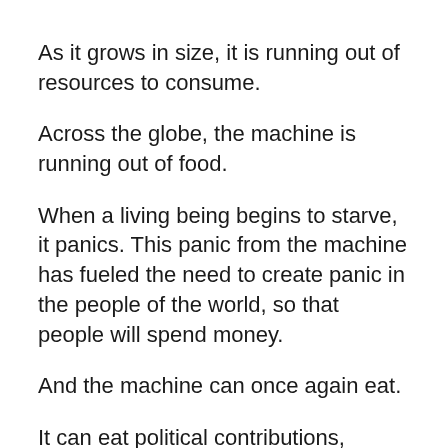As it grows in size, it is running out of resources to consume.
Across the globe, the machine is running out of food.
When a living being begins to starve, it panics. This panic from the machine has fueled the need to create panic in the people of the world, so that people will spend money.
And the machine can once again eat.
It can eat political contributions, bullet-hoarding income, gas-hoarding income, toilet-paper-hoarding income, big screen TV income from stimulus checks—
—anything we're willing to spend in a panic, the machine gobbles it up. The more we panic, the more the machine eats.